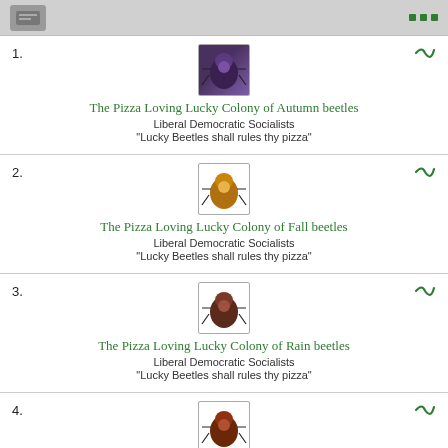1. The Pizza Loving Lucky Colony of Autumn beetles
Liberal Democratic Socialists
“Lucky Beetles shall rules thy pizza”
2. The Pizza Loving Lucky Colony of Fall beetles
Liberal Democratic Socialists
“Lucky Beetles shall rules thy pizza”
3. The Pizza Loving Lucky Colony of Rain beetles
Liberal Democratic Socialists
“Lucky Beetles shall rules thy pizza”
4. The Pizza Loving Lucky Colony of Campfire beetles
Liberal Democratic Socialists
“Lucky Beetles shall rules thy pizza”
5. The Pizza Loving Lucky Colony of Water beetles